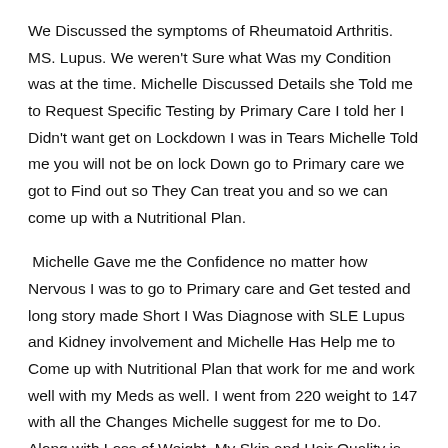We Discussed the symptoms of Rheumatoid Arthritis. MS. Lupus. We weren't Sure what Was my Condition was at the time. Michelle Discussed Details she Told me to Request Specific Testing by Primary Care I told her I Didn't want get on Lockdown I was in Tears Michelle Told me you will not be on lock Down go to Primary care we got to Find out so They Can treat you and so we can come up with a Nutritional Plan.
Michelle Gave me the Confidence no matter how Nervous I was to go to Primary care and Get tested and long story made Short I Was Diagnose with SLE Lupus and Kidney involvement and Michelle Has Help me to Come up with Nutritional Plan that work for me and work well with my Meds as well. I went from 220 weight to 147 with all the Changes Michelle suggest for me to Do. Along with Loss of Weight. My Skin and Hair Quality is so much Better. I will always Suggest Michelle's Nutritional